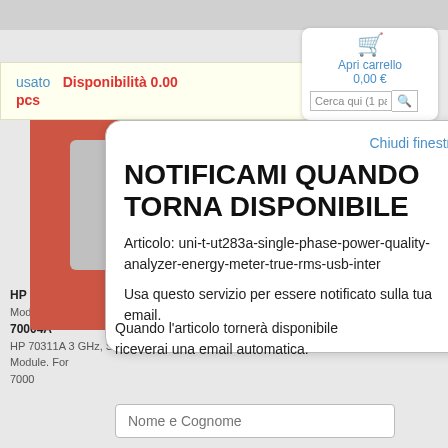usato
Disponibilità 0.00 pcs
Apri carrello 0,00 €
[Figure (screenshot): E-commerce popup modal on product page showing out-of-stock notification form]
Chiudi finestra
NOTIFICAMI QUANDO TORNA DISPONIBILE
Articolo: uni-t-ut283a-single-phase-power-quality-analyzer-energy-meter-true-rms-usb-inter
Usa questo servizio per essere notificato sulla tua email.
HP 70311A 3 GHz, Single Source, Clock Module. For 70004A
Quando l'articolo tornerà disponibile riceverai una email automatica.
HP 70311A 3 GHz, Single Source, Clock Module. For 7000
Nome e Cognome